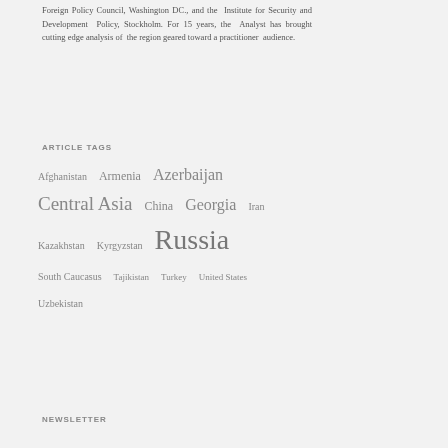Foreign Policy Council, Washington DC., and the Institute for Security and Development Policy, Stockholm. For 15 years, the Analyst has brought cutting edge analysis of the region geared toward a practitioner audience.
ARTICLE TAGS
Afghanistan  Armenia  Azerbaijan  Central Asia  China  Georgia  Iran  Kazakhstan  Kyrgyzstan  Russia  South Caucasus  Tajikistan  Turkey  United States  Uzbekistan
NEWSLETTER